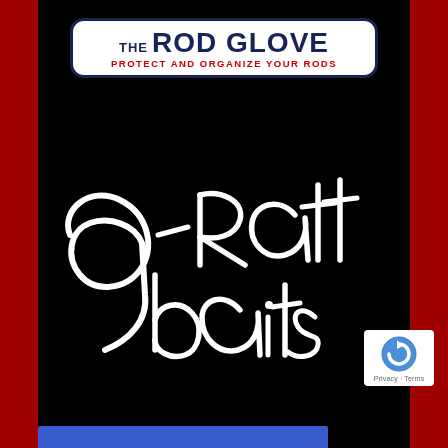[Figure (logo): The Rod Glove logo: white rounded rectangle with dark navy border. Text: 'THE ROD GLOVE' in navy bold, tagline 'PROTECT AND ORGANIZE YOUR RODS' in red uppercase.]
[Figure (illustration): Handwritten white script text reading 'g-Ratt baits' on black background]
[Figure (logo): Google reCAPTCHA badge with circular arrow icon and 'Privacy - Terms' links]